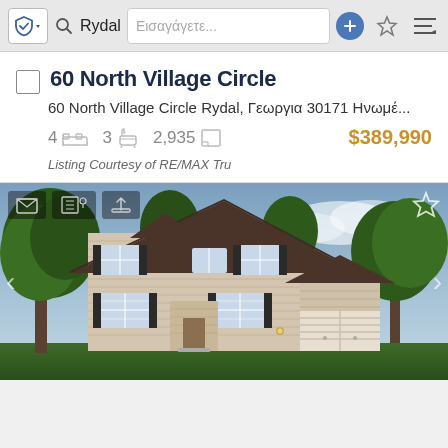Browser navigation bar with shield icon, search for Rydal, Εισαγάγετε... placeholder, plus, star, and menu buttons
60 North Village Circle
60 North Village Circle Rydal, Γεωργια 30171 Ηνωμέ...
4  [bed icon]  3  [bath icon]  2,935  [sqft icon]  $389,990
Listing Courtesy of RE/MAX Tru
[Figure (photo): Exterior photo of a two-story residential house with beige/tan siding, dark shutters, brown pitched roof, attached garage, surrounded by green trees, with navigation arrows and overlay icons]